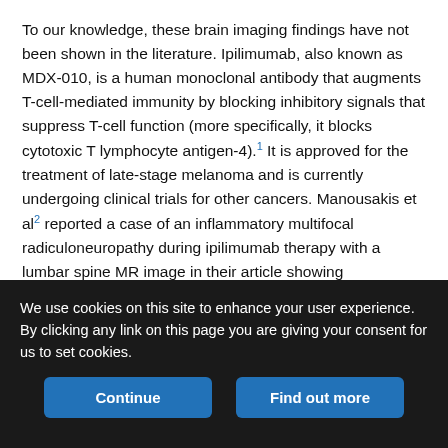To our knowledge, these brain imaging findings have not been shown in the literature. Ipilimumab, also known as MDX-010, is a human monoclonal antibody that augments T-cell-mediated immunity by blocking inhibitory signals that suppress T-cell function (more specifically, it blocks cytotoxic T lymphocyte antigen-4).1 It is approved for the treatment of late-stage melanoma and is currently undergoing clinical trials for other cancers. Manousakis et al2 reported a case of an inflammatory multifocal radiculoneuropathy during ipilimumab therapy with a lumbar spine MR image in their article showing leptomeningeal enhancement along the cauda equina nerve roots. Their patient also had clinical evidence of cranial neuropathies with facial nerve enhancement, though the brain MR images were not included in the article. Carpenter et al3 showed 2
We use cookies on this site to enhance your user experience. By clicking any link on this page you are giving your consent for us to set cookies.